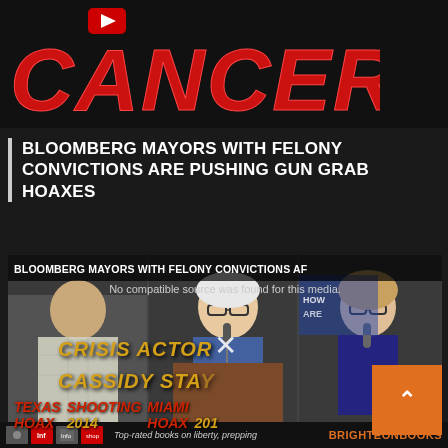[Figure (screenshot): Top banner showing the word CANCER in large red stylized bold letters on dark background with a red YouTube-style play button icon above the C]
BLOOMBERG MAYORS WITH FELONY CONVICTIONS ARE PUSHING GUN GRAB HOAXES
[Figure (screenshot): Video player showing two young women speaking at a podium/microphone at what appears to be a rally. Overlaid text reads: BLOOMBERG MAYORS WITH FELONY CONVICTIONS AF... / No compatible source was found for this media. / CRISIS ACTOR / CASSIDY STA[Y] / TEXAS SHOOTING HOAX 2014 / MIAMI HOAX 201[6]. An X close button and orange block with up chevron are also visible. Bottom footer bar shows book icons and text Top-rated books on liberty, prepping / BRIGHTEONBOOKS]